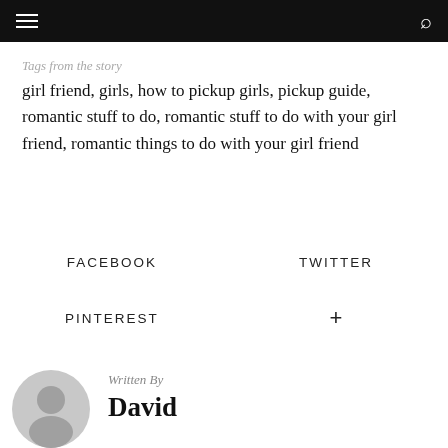Tags from the story
girl friend, girls, how to pickup girls, pickup guide, romantic stuff to do, romantic stuff to do with your girl friend, romantic things to do with your girl friend
FACEBOOK   TWITTER   PINTEREST   +
Written By
David